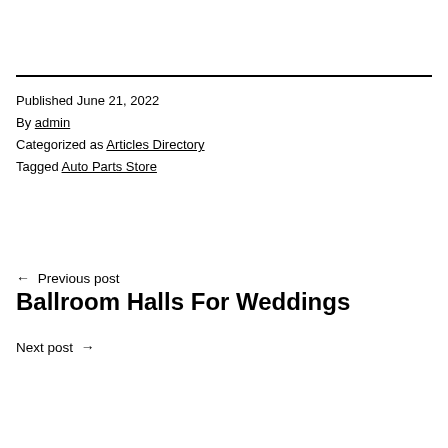Published June 21, 2022
By admin
Categorized as Articles Directory
Tagged Auto Parts Store
← Previous post
Ballroom Halls For Weddings
Next post →